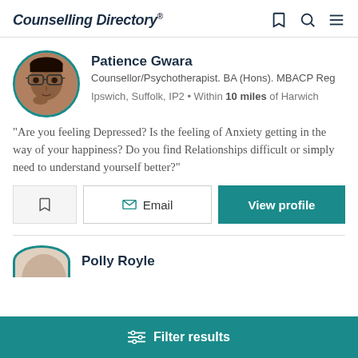Counselling Directory
[Figure (photo): Circular profile photo of Patience Gwara, a woman with glasses, with a teal border]
Patience Gwara
Counsellor/Psychotherapist. BA (Hons). MBACP Reg
Ipswich, Suffolk, IP2 • Within 10 miles of Harwich
“Are you feeling Depressed? Is the feeling of Anxiety getting in the way of your happiness? Do you find Relationships difficult or simply need to understand yourself better?”
Polly Royle
Filter results